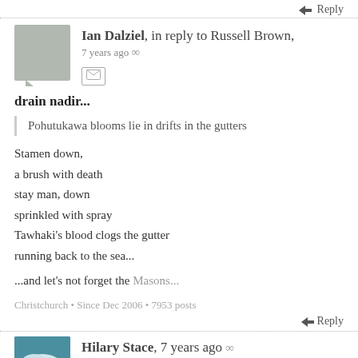Reply
Ian Dalziel, in reply to Russell Brown, 7 years ago ∞
drain nadir...
Pohutukawa blooms lie in drifts in the gutters
Stamen down,
a brush with death
stay man, down
sprinkled with spray
Tawhaki's blood clogs the gutter
running back to the sea...
...and let's not forget the Masons...
Christchurch • Since Dec 2006 • 7953 posts
Reply
Hilary Stace, 7 years ago ∞